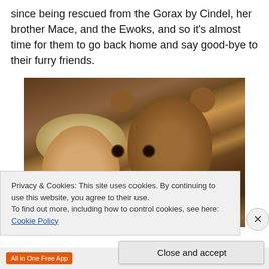since being rescued from the Gorax by Cindel, her brother Mace, and the Ewoks, and so it's almost time for them to go back home and say good-bye to their furry friends.
[Figure (photo): A scene showing a young blonde girl and an Ewok character lying together, both looking at the camera from close range. The background shows straw or natural forest floor material.]
Privacy & Cookies: This site uses cookies. By continuing to use this website, you agree to their use.
To find out more, including how to control cookies, see here: Cookie Policy